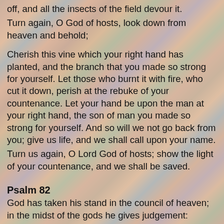off, and all the insects of the field devour it.
Turn again, O God of hosts, look down from heaven and behold;
Cherish this vine which your right hand has planted, and the branch that you made so strong for yourself. Let those who burnt it with fire, who cut it down, perish at the rebuke of your countenance. Let your hand be upon the man at your right hand, the son of man you made so strong for yourself. And so will we not go back from you; give us life, and we shall call upon your name.
Turn us again, O Lord God of hosts; show the light of your countenance, and we shall be saved.
Psalm 82
God has taken his stand in the council of heaven; in the midst of the gods he gives judgement:
'How long will you judge unjustly and show such favour to the wicked?
 You were to judge the weak and the orphan; defend the right of the humble and needy;
 rescue the weak and the poor; deliver them from the hand of